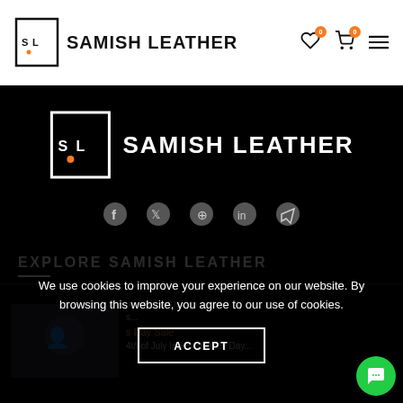Samish Leather
[Figure (logo): Samish Leather logo with SL monogram in a box and text SAMISH LEATHER]
[Figure (logo): Large Samish Leather logo on black background with SL monogram]
[Figure (infographic): Social media icons: Facebook, Twitter, Pinterest, LinkedIn, Telegram]
EXPLORE SAMISH LEATHER
We use cookies to improve your experience on our website. By browsing this website, you agree to our use of cookies.
ACCEPT